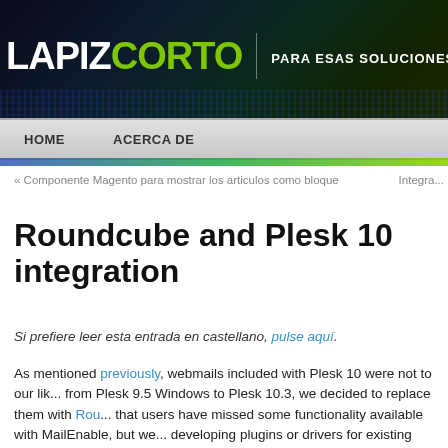[Figure (logo): LapizCorto website header banner with logo 'LAPIZ CORTO' and tagline 'PARA ESAS SOLUCIONES QUE NU...' on dark green/blue gradient background]
HOME   ACERCA DE
« Componente Magento para mostrar los articulos como bloque    Integra...
Roundcube and Plesk 10 integration
Si prefiere leer esta entrada en castellano, pulse aquí.
As mentioned previously, webmails included with Plesk 10 were not to our lik... from Plesk 9.5 Windows to Plesk 10.3, we decided to replace them with Rou... that users have missed some functionality available with MailEnable, but we... developing plugins or drivers for existing plugins which we want to publish: